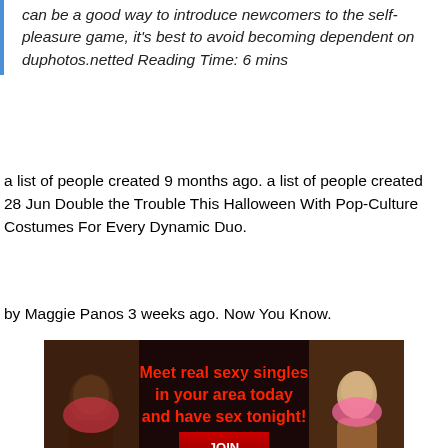can be a good way to introduce newcomers to the self-pleasure game, it's best to avoid becoming dependent on duphotos.netted Reading Time: 6 mins
a list of people created 9 months ago. a list of people created 28 Jun Double the Trouble This Halloween With Pop-Culture Costumes For Every Dynamic Duo.
by Maggie Panos 3 weeks ago. Now You Know.
[Figure (advertisement): Adult dating site advertisement with two women in bikinis and text: Meet real sexy singles in your area today and have sex tonight! JOIN NOW REGISTER]
Celebrity News Idris Elba's Beautiful Family Stole the Spotlight at